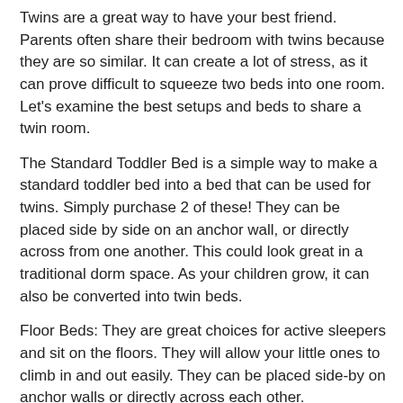Twins are a great way to have your best friend. Parents often share their bedroom with twins because they are so similar. It can create a lot of stress, as it can prove difficult to squeeze two beds into one room. Let's examine the best setups and beds to share a twin room.
The Standard Toddler Bed is a simple way to make a standard toddler bed into a bed that can be used for twins. Simply purchase 2 of these! They can be placed side by side on an anchor wall, or directly across from one another. This could look great in a traditional dorm space. As your children grow, it can also be converted into twin beds.
Floor Beds: They are great choices for active sleepers and sit on the floors. They will allow your little ones to climb in and out easily. They can be placed side-by on anchor walls or directly across each other.
L-shaped Bett: L-shaped beds are our favorites because they take up less space in the bedroom.
Trundle Beds: A trundle is an excellent option if you want to save some space. A trundle bed lets you take a second,